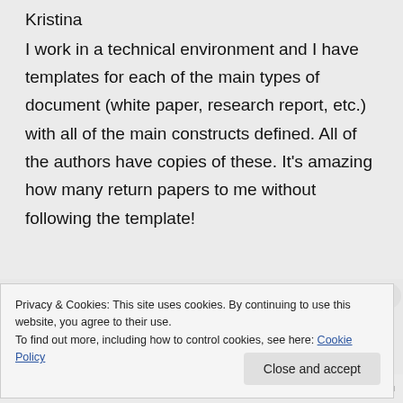Kristina
I work in a technical environment and I have templates for each of the main types of document (white paper, research report, etc.) with all of the main constructs defined. All of the authors have copies of these. It's amazing how many return papers to me without following the template!
Privacy & Cookies: This site uses cookies. By continuing to use this website, you agree to their use.
To find out more, including how to control cookies, see here: Cookie Policy
Close and accept